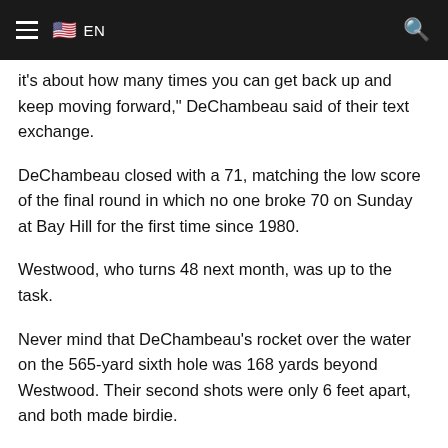EN
it's about how many times you can get back up and keep moving forward," DeChambeau said of their text exchange.
DeChambeau closed with a 71, matching the low score of the final round in which no one broke 70 on Sunday at Bay Hill for the first time since 1980.
Westwood, who turns 48 next month, was up to the task.
Never mind that DeChambeau's rocket over the water on the 565-yard sixth hole was 168 yards beyond Westwood. Their second shots were only 6 feet apart, and both made birdie.
Westwood fought to the end. He fell out of a share of the lead with a three-putt bogey from 40 feet on the 14th. Just as critical was failing to make birdie on the par-5 16th with a